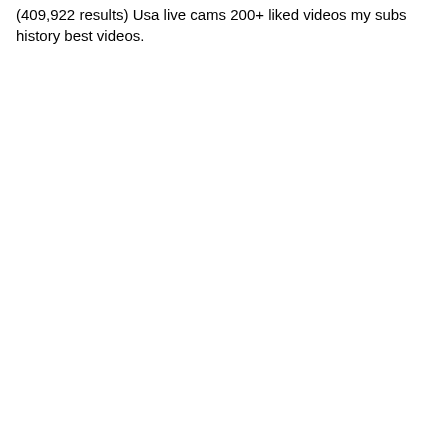(409,922 results) Usa live cams 200+ liked videos my subs history best videos.